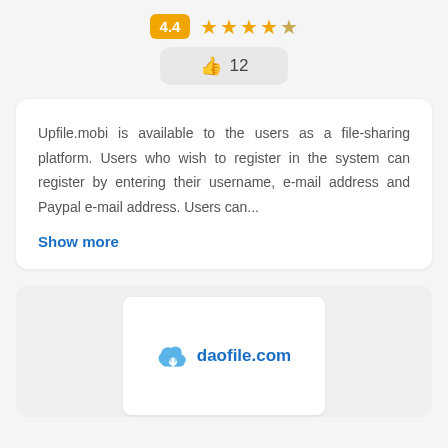[Figure (other): Rating display showing 4.4 score badge and 4.5 stars (4 full stars and 1 half star)]
[Figure (other): Like/thumbs-up button showing count of 12]
Upfile.mobi is available to the users as a file-sharing platform. Users who wish to register in the system can register by entering their username, e-mail address and Paypal e-mail address. Users can...
Show more
[Figure (logo): daofile.com logo with cloud icon on light background card]